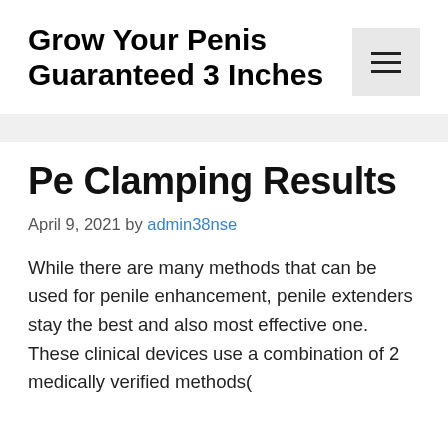Grow Your Penis Guaranteed 3 Inches
Pe Clamping Results
April 9, 2021 by admin38nse
While there are many methods that can be used for penile enhancement, penile extenders stay the best and also most effective one. These clinical devices use a combination of 2 medically verified methods(